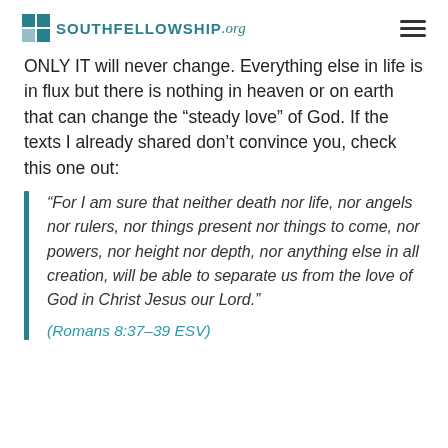SOUTHFELLOWSHIP.org
ONLY IT will never change. Everything else in life is in flux but there is nothing in heaven or on earth that can change the “steady love” of God. If the texts I already shared don’t convince you, check this one out:
“For I am sure that neither death nor life, nor angels nor rulers, nor things present nor things to come, nor powers, nor height nor depth, nor anything else in all creation, will be able to separate us from the love of God in Christ Jesus our Lord.”
(Romans 8:37–39 ESV)